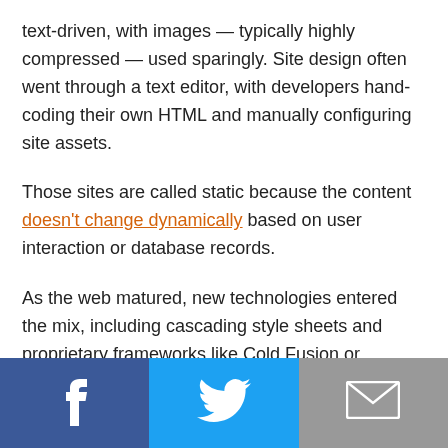text-driven, with images — typically highly compressed — used sparingly. Site design often went through a text editor, with developers hand-coding their own HTML and manually configuring site assets.
Those sites are called static because the content doesn't change dynamically based on user interaction or database records.
As the web matured, new technologies entered the mix, including cascading style sheets and proprietary frameworks like Cold Fusion or FrontPage. Later, complex content management systems like WordPress and Joomla appeared, running on PHP with full database connectivity. Bandwidth concerns, which were so pressing in the late 1990s, also declined, freeing designers
[Figure (infographic): Social share bar with Facebook, Twitter, and Email buttons]